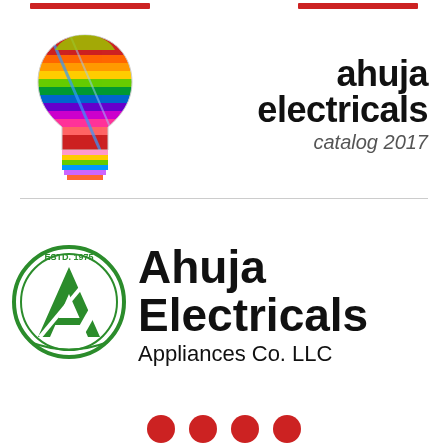[Figure (logo): Two red rectangular bar decorations at top, one left and one right]
[Figure (logo): Colorful light bulb logo for Ahuja Electricals with rainbow stripes]
ahuja electricals catalog 2017
[Figure (logo): Ahuja Electricals circular green logo with letter A and lightning bolt, ESTD. 1975]
Ahuja Electricals Appliances Co. LLC
[Figure (logo): Social media circular icons at bottom]